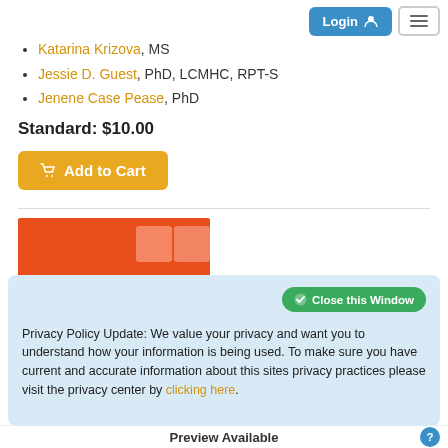Katarina Krizova, MS
Jessie D. Guest, PhD, LCMHC, RPT-S
Jenene Case Pease, PhD
Standard: $10.00
Add to Cart
[Figure (screenshot): E-Learning Center banner with orange background and bold italic text]
Privacy Policy Update: We value your privacy and want you to understand how your information is being used. To make sure you have current and accurate information about this sites privacy practices please visit the privacy center by clicking here.
Preview Available